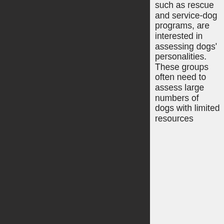[Figure (photo): Dark background panel occupying the left portion of the page]
such as rescue and service-dog programs, are interested in assessing dogs' personalities. These groups often need to assess large numbers of dogs with limited resources